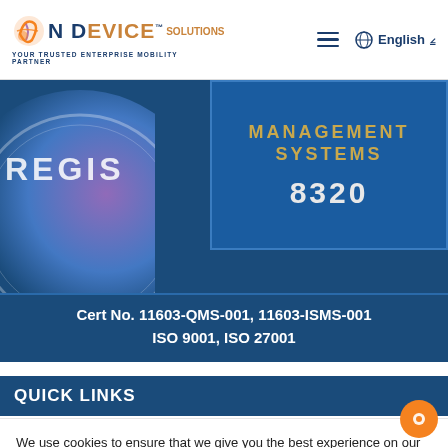On Device Solutions - YOUR TRUSTED ENTERPRISE MOBILITY PARTNER
[Figure (logo): On Device Solutions logo with globe icon and tagline YOUR TRUSTED ENTERPRISE MOBILITY PARTNER]
[Figure (photo): ISO certification badge showing MANAGEMENT SYSTEMS and number 8320 with REGIS text visible on blue background with circular logo]
Cert No. 11603-QMS-001, 11603-ISMS-001 ISO 9001, ISO 27001
QUICK LINKS
We use cookies to ensure that we give you the best experience on our website. To learn more, go to the Privacy Page.